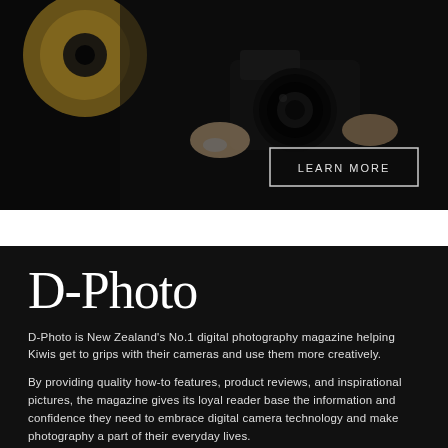[Figure (photo): Photographer holding a DSLR camera up to their face with a circular studio light visible in the background. Dark, moody lighting. A 'LEARN MORE' button overlay is in the lower right of the image.]
D-Photo
D-Photo is New Zealand's No.1 digital photography magazine helping Kiwis get to grips with their cameras and use them more creatively.
By providing quality how-to features, product reviews, and inspirational pictures, the magazine gives its loyal reader base the information and confidence they need to embrace digital camera technology and make photography a part of their everyday lives.